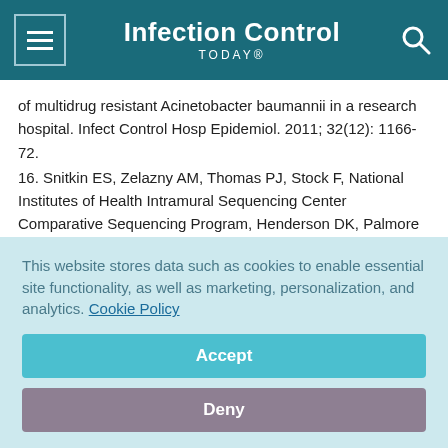Infection Control TODAY®
of multidrug resistant Acinetobacter baumannii in a research hospital. Infect Control Hosp Epidemiol. 2011; 32(12): 1166-72.
16. Snitkin ES, Zelazny AM, Thomas PJ, Stock F, National Institutes of Health Intramural Sequencing Center Comparative Sequencing Program, Henderson DK, Palmore TN, Segre JA.  Tracking a hospital outbreak of carbapenem-resistant Klebsiella pneumoniae with whole genome sequencing. Science Translat Med 2012; 4(148)ra116 (1-9).
This website stores data such as cookies to enable essential site functionality, as well as marketing, personalization, and analytics. Cookie Policy
Accept
Deny